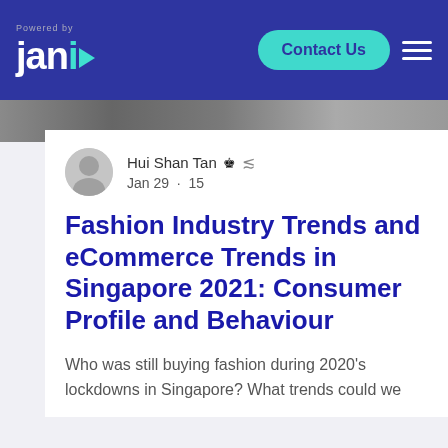janio — Contact Us
[Figure (photo): Hero image strip showing fashion/clothing imagery]
Hui Shan Tan  Admin  Jan 29 · 15
Fashion Industry Trends and eCommerce Trends in Singapore 2021: Consumer Profile and Behaviour
Who was still buying fashion during 2020's lockdowns in Singapore? What trends could we